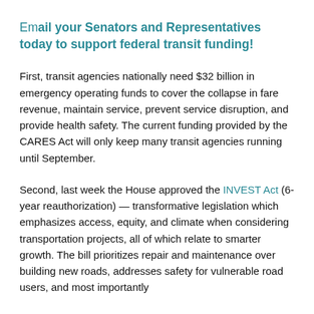Email your Senators and Representatives today to support federal transit funding!
First, transit agencies nationally need $32 billion in emergency operating funds to cover the collapse in fare revenue, maintain service, prevent service disruption, and provide health safety. The current funding provided by the CARES Act will only keep many transit agencies running until September.
Second, last week the House approved the INVEST Act (6-year reauthorization) — transformative legislation which emphasizes access, equity, and climate when considering transportation projects, all of which relate to smarter growth. The bill prioritizes repair and maintenance over building new roads, addresses safety for vulnerable road users, and most importantly